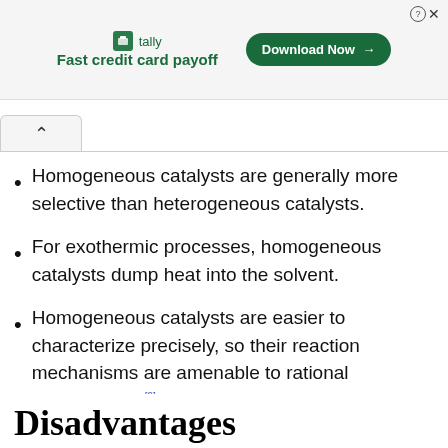[Figure (other): Advertisement banner for Tally app: 'Fast credit card payoff' with a Download Now button]
Homogeneous catalysts are generally more selective than heterogeneous catalysts.
For exothermic processes, homogeneous catalysts dump heat into the solvent.
Homogeneous catalysts are easier to characterize precisely, so their reaction mechanisms are amenable to rational manipulation.[9]
Disadvantages